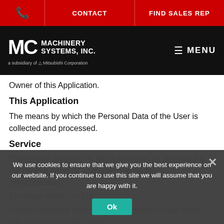📞  CONTACT  FIND SALES REP
[Figure (logo): MC Machinery Systems, Inc. logo — white text on black background with 'a subsidiary of Mitsubishi Corporation' tagline. Menu icon and MENU text on right.]
Owner of this Application.
This Application
The means by which the Personal Data of the User is collected and processed.
Service
The service provided by this Application as described in the relative terms (if available) and on this site/Application.
European Union (or EU)
Unless otherwise specified, all references made within this document to the European Union include all current member states to the European Union and the
We use cookies to ensure that we give you the best experience on our website. If you continue to use this site we will assume that you are happy with it.